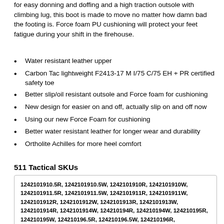for easy donning and doffing and a high traction outsole with climbing lug, this boot is made to move no matter how damn bad the footing is. Force foam PU cushioning will protect your feet fatigue during your shift in the firehouse.
Water resistant leather upper
Carbon Tac lightweight F2413-17 M I/75 C/75 EH + PR certified safety toe
Better slip/oil resistant outsole and Force foam for cushioning
New design for easier on and off, actually slip on and off now
Using our new Force Foam for cushioning
Better water resistant leather for longer wear and durability
Ortholite Achilles for more heel comfort
511 Tactical SKUs
1242101910.5R, 1242101910.5W, 1242101910R, 1242101910W, 1242101911.5R, 1242101911.5W, 1242101911R, 1242101911W, 1242101912R, 1242101912W, 1242101913R, 1242101913W, 1242101914R, 1242101914W, 124210194R, 124210194W, 124210195R, 124210195W, 124210196.5R, 124210196.5W, 124210196R, 124210196W, 124210197.5R, 124210197.5W, 124210197R, 124210197W, 124210198.5R, 124210198.5W, 124210198R, 124210198W, 124210199.5R